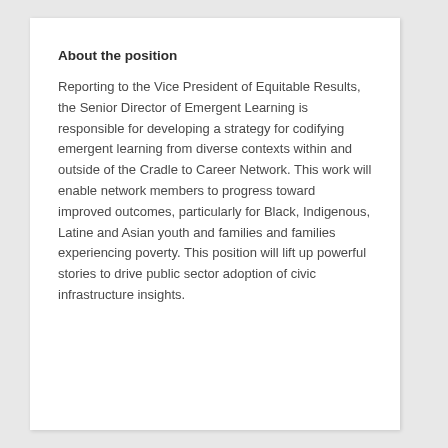About the position
Reporting to the Vice President of Equitable Results, the Senior Director of Emergent Learning is responsible for developing a strategy for codifying emergent learning from diverse contexts within and outside of the Cradle to Career Network. This work will enable network members to progress toward improved outcomes, particularly for Black, Indigenous, Latine and Asian youth and families and families experiencing poverty. This position will lift up powerful stories to drive public sector adoption of civic infrastructure insights.
Responsibilities